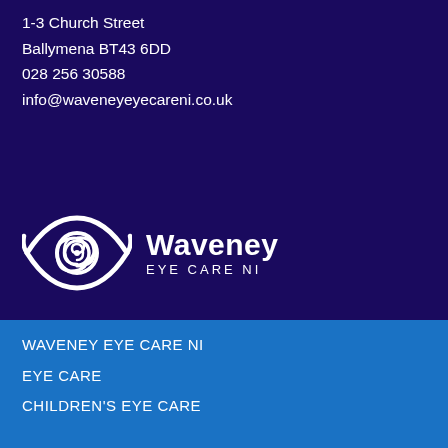1-3 Church Street
Ballymena BT43 6DD
028 256 30588
info@waveneyeyecareni.co.uk
[Figure (logo): Waveney Eye Care NI logo — white eye icon with spiral pupil on dark navy background, with text 'Waveney EYE CARE NI']
WAVENEY EYE CARE NI
EYE CARE
CHILDREN'S EYE CARE